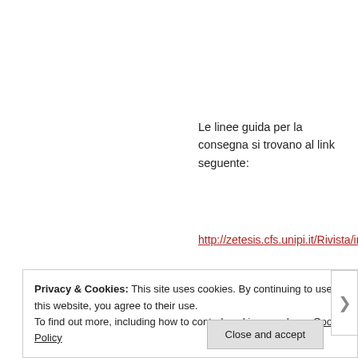Le linee guida per la consegna si trovano al link seguente:
http://zetesis.cfs.unipi.it/Rivista/index.php/odradek/about/s
Tutti i contributi saranno esaminati e recensiti secondo le nostre procedure
http://zetesis.cfs.unipi.it/Rivista/index.php/odradek/about/e
Privacy & Cookies: This site uses cookies. By continuing to use this website, you agree to their use.
To find out more, including how to control cookies, see here: Cookie Policy